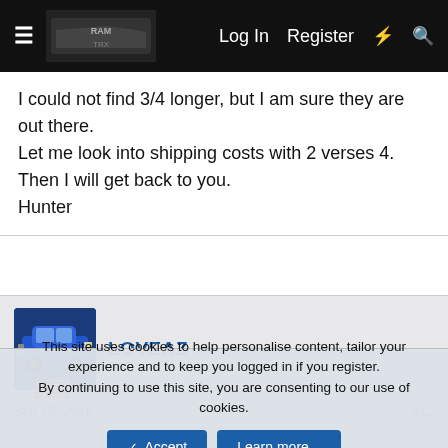≡  [RAM TRX logo]  Log In  Register  ⚡  🔍
I could not find 3/4 longer, but I am sure they are out there.
Let me look into shipping costs with 2 verses 4.
Then I will get back to you.
Hunter
[Figure (photo): Forum user avatar showing a blue car/muscle car, with US flag icon below]
LOVEAZ
Sep 15, 2021
#12
This site uses cookies to help personalise content, tailor your experience and to keep you logged in if you register.
By continuing to use this site, you are consenting to our use of cookies.